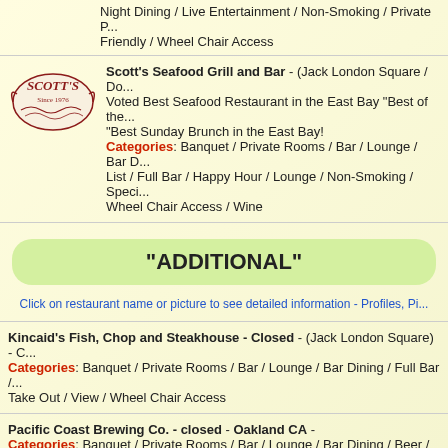Night Dining / Live Entertainment / Non-Smoking / Private P... Friendly / Wheel Chair Access
Scott's Seafood Grill and Bar - (Jack London Square / Do... Voted Best Seafood Restaurant in the East Bay "Best of the ... "Best Sunday Brunch in the East Bay!
Categories: Banquet / Private Rooms / Bar / Lounge / Bar D... List / Full Bar / Happy Hour / Lounge / Non-Smoking / Speci... Wheel Chair Access / Wine
"ADDITIONAL"
Click on restaurant name or picture to see detailed information - Profiles, Pi...
Kincaid's Fish, Chop and Steakhouse - Closed - (Jack London Square) - C...
Categories: Banquet / Private Rooms / Bar / Lounge / Bar Dining / Full Bar / ... Take Out / View / Wheel Chair Access
Pacific Coast Brewing Co. - closed - Oakland CA -
Categories: Banquet / Private Rooms / Bar / Lounge / Bar Dining / Beer / Bre...